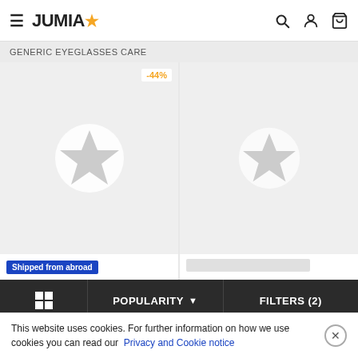JUMIA
GENERIC EYEGLASSES CARE
[Figure (screenshot): Two product cards with placeholder star icons on grey background. Left card has -44% badge and 'Shipped from abroad' label. Right card has no badge.]
POPULARITY
FILTERS (2)
This website uses cookies. For further information on how we use cookies you can read our Privacy and Cookie notice